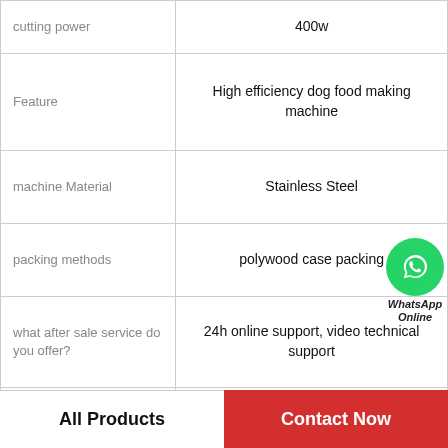| Attribute | Value |
| --- | --- |
| cutting power | 400w |
| Feature | High efficiency dog food making machine |
| machine Material | Stainless Steel |
| packing methods | polywood case packing |
| what after sale service do you offer? | 24h online support, video technical support |
| what is the machine advantage? | Simple structure, smooth operation, low noise, high efficiency |
| After Warranty Service | Online support |
| Local Service Location | None |
[Figure (logo): WhatsApp Online green circle logo with phone icon and text WhatsApp Online]
All Products   Contact Now